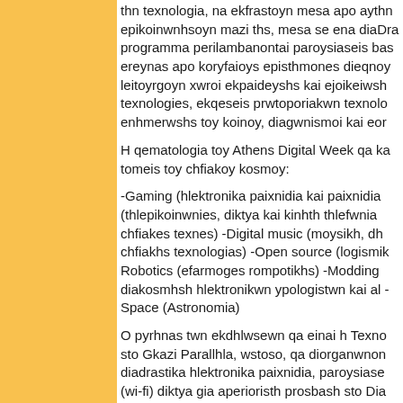thn texnologia, na ekfrastoyn mesa apo aythn epikoinwnhsoyn mazi ths, mesa se ena diaDra programma perilambanontai paroysiaseis bas ereynas apo koryfaioys episthmones dieqnoy leitoyrgoyn xwroi ekpaideyshs kai ejoikeiwsh texnologies, ekqeseis prwtoporiakwn texnolo enhmerwshs toy koinoy, diagwnismoi kai eor
H qematologia toy Athens Digital Week qa ka tomeis toy chfiakoy kosmoy:
-Gaming (hlektronika paixnidia kai paixnidia (thlepikoinwnies, diktya kai kinhth thlefwnia chfiakes texnes) -Digital music (moysikh, dh chfiakhs texnologias) -Open source (logismik Robotics (efarmoges rompotikhs) -Modding diakosmhsh hlektronikwn ypologistwn kai al -Space (Astronomia)
O pyrhnas twn ekdhlwsewn qa einai h Texno sto Gkazi Parallhla, wstoso, qa diorganwnon diadrastika hlektronika paixnidia, paroysiase (wi-fi) diktya gia aperioristh prosbash sto Dia shmeia ths polhs. Ta kombika shmeia toy Ath plateies Syntagmatos, Korah kai Hrakleidwn